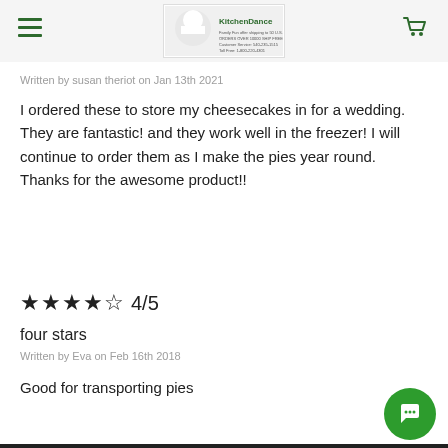KitchenDance [logo]
Written by susan theriot on Jan 13th 2021
I ordered these to store my cheesecakes in for a wedding. They are fantastic! and they work well in the freezer! I will continue to order them as I make the pies year round. Thanks for the awesome product!!
★★★★☆ 4/5
four stars
Written by Eva on Feb 16th 2018
Good for transporting pies